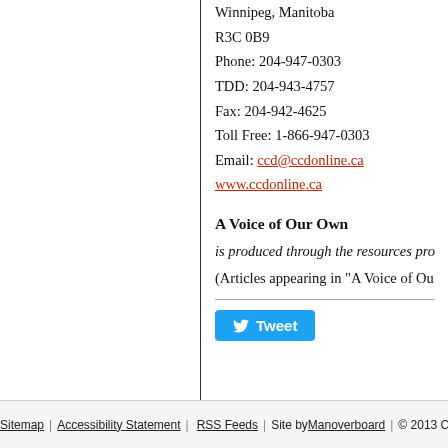Winnipeg, Manitoba
R3C 0B9
Phone: 204-947-0303
TDD: 204-943-4757
Fax: 204-942-4625
Toll Free: 1-866-947-0303
Email: ccd@ccdonline.ca
www.ccdonline.ca
A Voice of Our Own
is produced through the resources pro
(Articles appearing in "A Voice of Ou
Sitemap | Accessibility Statement | RSS Feeds | Site by Manoverboard | © 2013 Cou